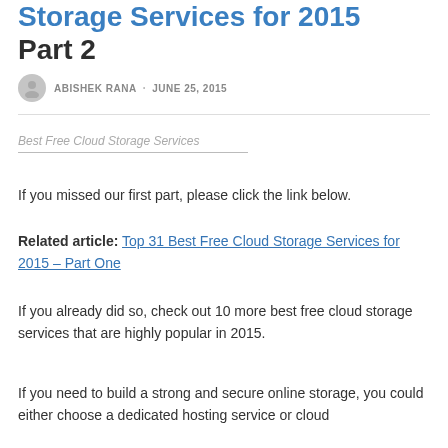Storage Services for 2015 Part 2
ABISHEK RANA · JUNE 25, 2015
Best Free Cloud Storage Services
If you missed our first part, please click the link below.
Related article: Top 31 Best Free Cloud Storage Services for 2015 – Part One
If you already did so, check out 10 more best free cloud storage services that are highly popular in 2015.
If you need to build a strong and secure online storage, you could either choose a dedicated hosting service or cloud